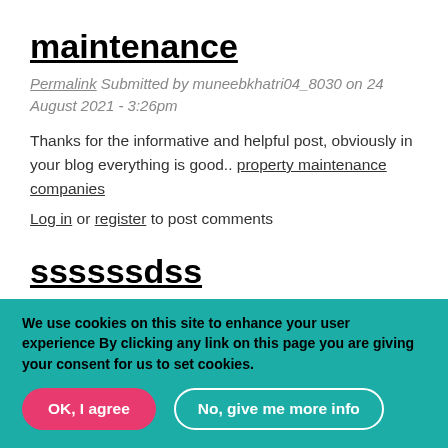maintenance
Permalink Submitted by muneebkhatri04_8030 on 24 August 2021 - 3:26pm
Thanks for the informative and helpful post, obviously in your blog everything is good.. property maintenance companies
Log in or register to post comments
ssssssdss
Permalink Submitted by MubeenAli12222_8896 on 24 August 2021 - 7:32pm
I prefer merely excellent resources - you will see these people in: https://gasstationnearmesnow.net
Log in or register to post comments
We use cookies on this site to enhance your user experience By clicking any link on this page you are giving your consent for us to set cookies.